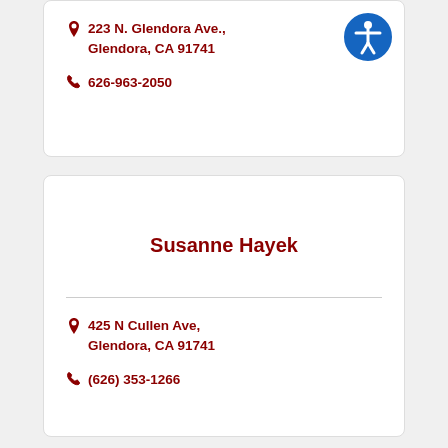223 N. Glendora Ave., Glendora, CA 91741
626-963-2050
Susanne Hayek
425 N Cullen Ave, Glendora, CA 91741
(626) 353-1266